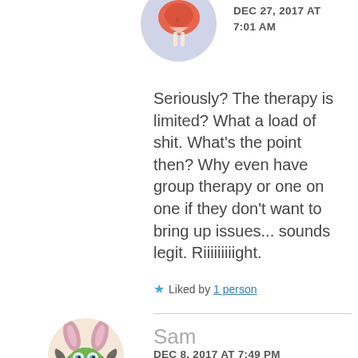[Figure (illustration): Circular avatar with light purple/blue background showing a cartoon figure with a red mushroom-like hat/top and white legs]
DEC 27, 2017 AT
7:01 AM
Seriously? The therapy is limited? What a load of shit. What’s the point then? Why even have group therapy or one on one if they don’t want to bring up issues... sounds legit. Riiiiiiiiight.
★ Liked by 1 person
[Figure (illustration): Circular avatar with beige background showing a cartoon creature with bunny ears, bat wings, and a green frog-like face]
Sam
DEC 8, 2017 AT 7:49 PM